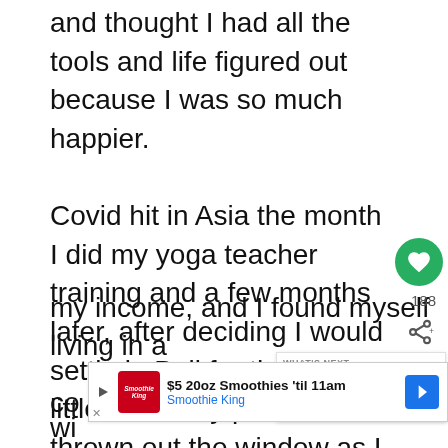and thought I had all the tools and life figured out because I was so much happier.

Covid hit in Asia the month I did my yoga teacher training and a few months later, after deciding I would settle in Bali for the next little while, my plans were thrown out the window as I made my way back to Canada to wait out the pandemic. Like many others, that year challenged me, my new-found ideas on spirituality and personal development, and my mental health suffered greatly as I [lost] my income, and I found myself living in a co[vid bubble, afraid of]...
[Figure (other): Green heart/like button overlay with like count 188 and share icon]
[Figure (other): What's Next card showing '13 Charming Day Trips fr...' with circular thumbnail]
[Figure (other): Smoothie King advertisement banner: '$5 20oz Smoothies til 11am' with logo and blue arrow icon]